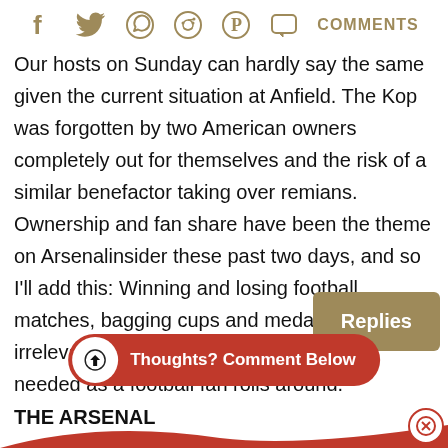[Figure (other): Social media sharing icons row: Facebook, Twitter, WhatsApp, Reddit, Pinterest, Comments speech bubble; all in golden/tan color with COMMENTS label]
Our hosts on Sunday can hardly say the same given the current situation at Anfield. The Kop was forgotten by two American owners completely out for themselves and the risk of a similar benefactor taking over remians. Ownership and fan share have been the theme on Arsenalinsider these past two days, and so I'll add this: Winning and losing football matches, bagging cups and medals is irrelevant, when, the day you're not ever needed as a football fan rolls around.
THE ARSENAL
[Figure (other): Tan/golden rectangular button overlay with white text 'Replies']
[Figure (other): Red rounded pill button with white circle icon (down arrow) and text 'Thoughts? Comment Below']
[Figure (other): Red decorative wave/curve at bottom of page with close (X) circle button at bottom right]